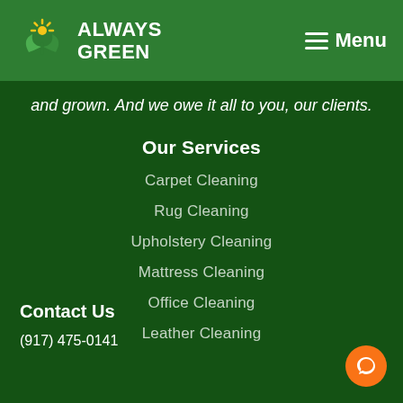Always Green — Menu
and grown. And we owe it all to you, our clients.
Our Services
Carpet Cleaning
Rug Cleaning
Upholstery Cleaning
Mattress Cleaning
Office Cleaning
Leather Cleaning
Contact Us
(917) 475-0141